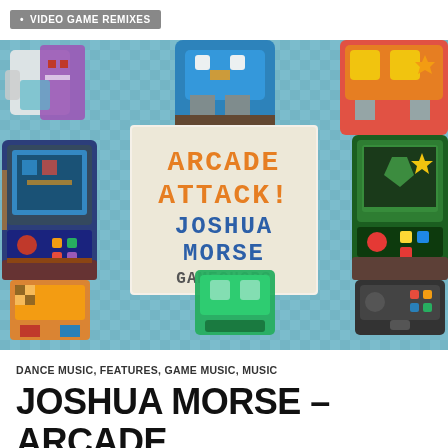VIDEO GAME REMIXES
[Figure (illustration): Arcade Attack album cover art by Joshua Morse and GameChops, featuring pixel-art arcade machines and game characters on a teal checkerboard background, with a central cream-colored box displaying 'ARCADE ATTACK! JOSHUA MORSE GAMECHOPS' in pixel font.]
DANCE MUSIC, FEATURES, GAME MUSIC, MUSIC
JOSHUA MORSE – ARCADE ATTACK